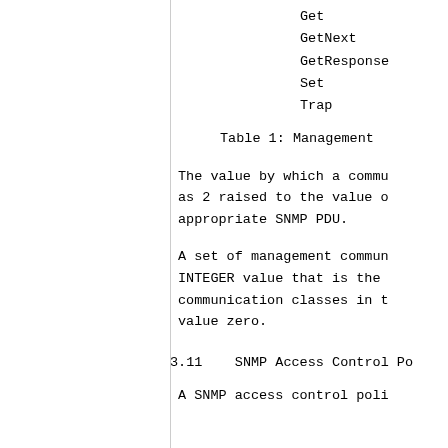Get
GetNext
GetResponse
Set
Trap
Table 1: Management
The value by which a commu as 2 raised to the value o appropriate SNMP PDU.
A set of management commun INTEGER value that is the communication classes in t value zero.
3.11    SNMP Access Control Po
A SNMP access control poli